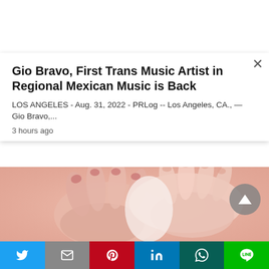Gio Bravo, First Trans Music Artist in Regional Mexican Music is Back
LOS ANGELES - Aug. 31, 2022 - PRLog -- Los Angeles, CA., — Gio Bravo,...
3 hours ago
[Figure (photo): Close-up photo of two hands with painted nails holding each other against a pink background]
Twitter | Gmail | Pinterest | LinkedIn | WhatsApp | Line social share bar